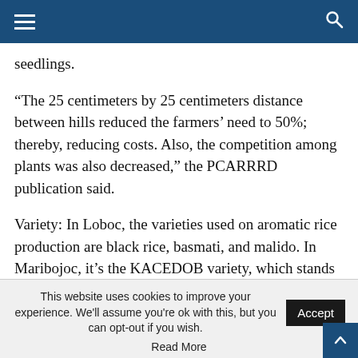Navigation header with hamburger menu and search icon
seedlings.
“The 25 centimeters by 25 centimeters distance between hills reduced the farmers’ need to 50%; thereby, reducing costs. Also, the competition among plants was also decreased,” the PCARRRD publication said.
Variety: In Loboc, the varieties used on aromatic rice production are black rice, basmati, and malido. In Maribojoc, it’s the KACEDOB variety, which stands for “Kang Seding, gitanum in Dod0y ug inabagan ni Boy” (From Seding, planted by Dodoy with the assistance of
This website uses cookies to improve your experience. We'll assume you're ok with this, but you can opt-out if you wish.
Read More